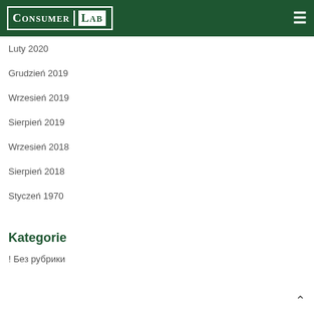Consumer Lab
Luty 2020
Grudzień 2019
Wrzesień 2019
Sierpień 2019
Wrzesień 2018
Sierpień 2018
Styczeń 1970
Kategorie
! Без рубрики